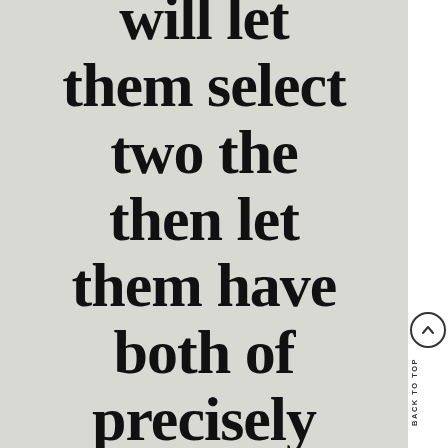will let them select two the then let them have both of precisely
BACK TO TOP